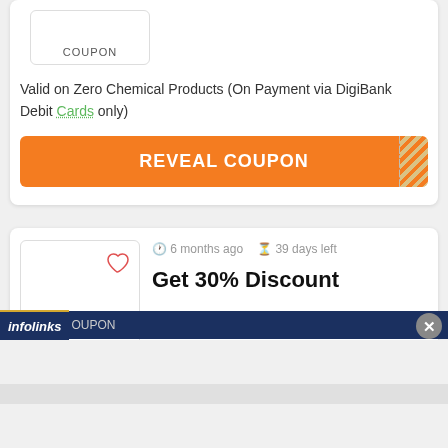[Figure (screenshot): Coupon card with COUPON label box at top left]
Valid on Zero Chemical Products (On Payment via DigiBank Debit Cards only)
REVEAL COUPON
[Figure (screenshot): Arata brand logo box with heart icon and COUPON label]
6 months ago  39 days left
Get 30% Discount
COUPON
infolinks  OUPON